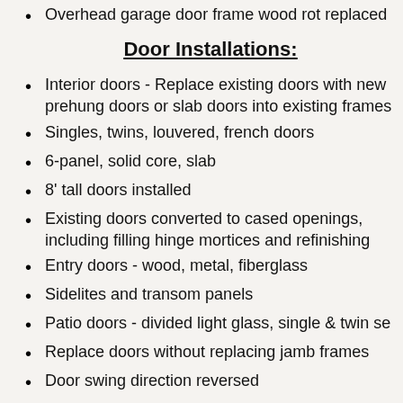Overhead garage door frame wood rot replaced
Door Installations:
Interior doors - Replace existing doors with new prehung doors or slab doors into existing frames
Singles, twins, louvered, french doors
6-panel, solid core, slab
8' tall doors installed
Existing doors converted to cased openings, including filling hinge mortices and refinishing
Entry doors - wood, metal, fiberglass
Sidelites and transom panels
Patio doors - divided light glass, single & twin se
Replace doors without replacing jamb frames
Door swing direction reversed
Repace single door with twin
Replace hollow core door with solid core for panic/safe rooms
Replace sliding glass doors with french doors